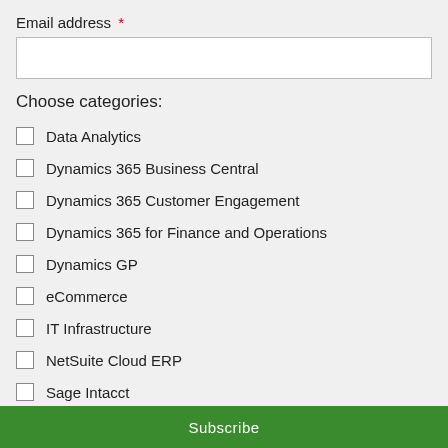Email address *
Choose categories:
Data Analytics
Dynamics 365 Business Central
Dynamics 365 Customer Engagement
Dynamics 365 for Finance and Operations
Dynamics GP
eCommerce
IT Infrastructure
NetSuite Cloud ERP
Sage Intacct
Microsoft 365
Subscribe